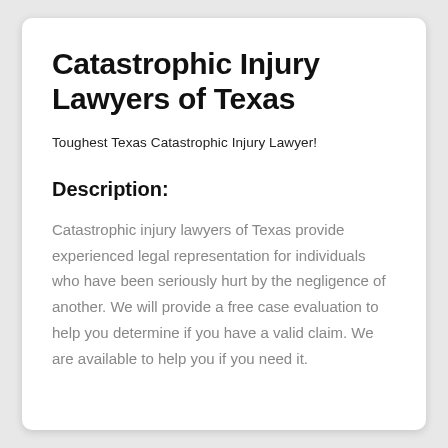Catastrophic Injury Lawyers of Texas
Toughest Texas Catastrophic Injury Lawyer!
Description:
Catastrophic injury lawyers of Texas provide experienced legal representation for individuals who have been seriously hurt by the negligence of another. We will provide a free case evaluation to help you determine if you have a valid claim. We are available to help you if you need it.